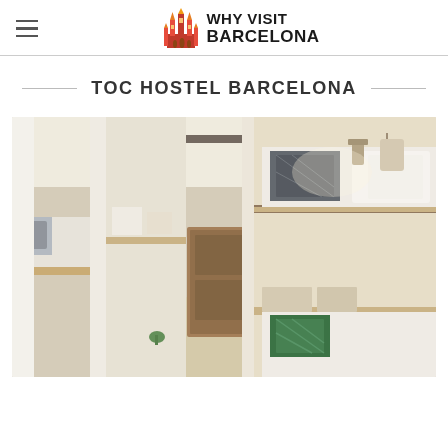WHY VISIT BARCELONA
TOC HOSTEL BARCELONA
[Figure (photo): Interior of TOC Hostel Barcelona showing modern pod-style bunk beds in a narrow dormitory corridor with warm lighting, white bedding, and green/grey patterned pillows. A door is visible at the end of the hallway.]